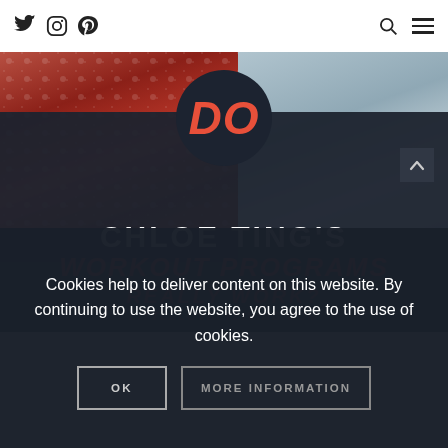Twitter Instagram Pinterest [search] [menu]
[Figure (photo): Blog post image with dark overlay showing text: DO CHLOE TING'S WORKOUT PROGRAMS REALLY WORK? [URL]. Left half shows two people in patterned red/pink sweaters, right half shows blurred blue/grey background.]
Cookies help to deliver content on this website. By continuing to use the website, you agree to the use of cookies.
OK   MORE INFORMATION